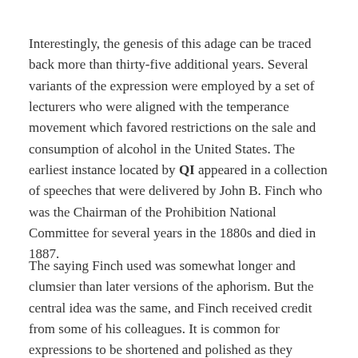Interestingly, the genesis of this adage can be traced back more than thirty-five additional years. Several variants of the expression were employed by a set of lecturers who were aligned with the temperance movement which favored restrictions on the sale and consumption of alcohol in the United States. The earliest instance located by QI appeared in a collection of speeches that were delivered by John B. Finch who was the Chairman of the Prohibition National Committee for several years in the 1880s and died in 1887.
The saying Finch used was somewhat longer and clumsier than later versions of the aphorism. But the central idea was the same, and Finch received credit from some of his colleagues. It is common for expressions to be shortened and polished as they